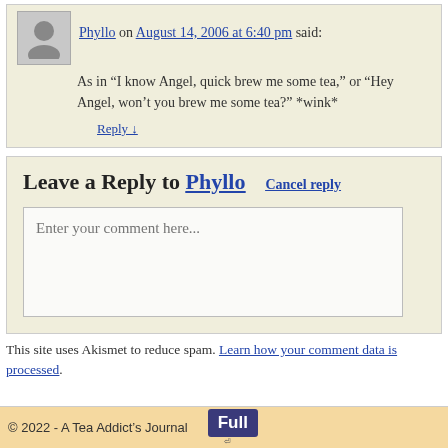Phyllo on August 14, 2006 at 6:40 pm said:
As in “I know Angel, quick brew me some tea,” or “Hey Angel, won’t you brew me some tea?” *wink*
Reply ↓
Leave a Reply to Phyllo  Cancel reply
Enter your comment here...
This site uses Akismet to reduce spam. Learn how your comment data is processed.
© 2022 - A Tea Addict’s Journal